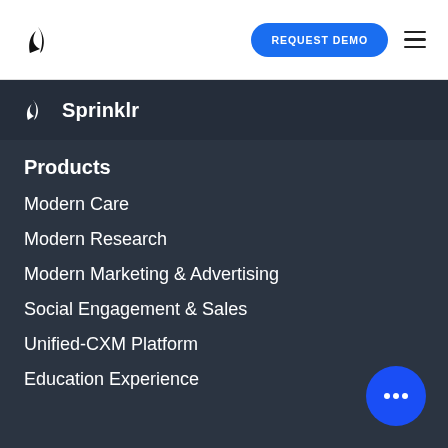[Figure (logo): Sprinklr logo mark (two leaf/sprout shapes) in black, in top-left of white header bar]
[Figure (other): Blue pill-shaped 'REQUEST DEMO' button in header]
[Figure (other): Hamburger menu icon (three horizontal lines) in header]
[Figure (logo): Sprinklr full logo (leaf icon + 'Sprinklr' wordmark) in white on dark background bar]
Products
Modern Care
Modern Research
Modern Marketing & Advertising
Social Engagement & Sales
Unified-CXM Platform
Education Experience
[Figure (other): Blue circular chat bubble button with three dots, bottom right corner]